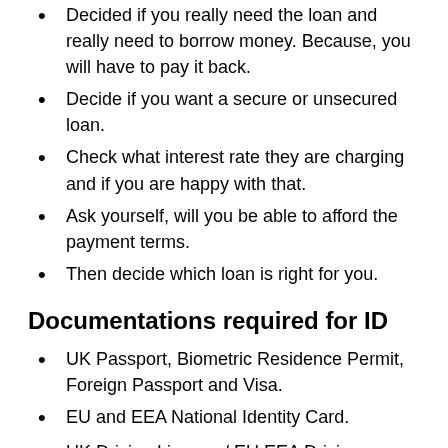Decided if you really need the loan and really need to borrow money. Because, you will have to pay it back.
Decide if you want a secure or unsecured loan.
Check what interest rate they are charging and if you are happy with that.
Ask yourself, will you be able to afford the payment terms.
Then decide which loan is right for you.
Documentations required for ID
UK Passport, Biometric Residence Permit, Foreign Passport and Visa.
EU and EEA National Identity Card.
UK Driving Licence / EU EEA Driving Licence.
Documentations required for proof of